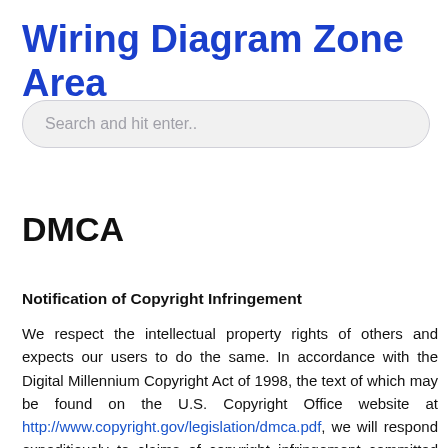Wiring Diagram Zone Area
[Figure (other): Search input box with placeholder text 'Search and hit enter..']
DMCA
Notification of Copyright Infringement
We respect the intellectual property rights of others and expects our users to do the same. In accordance with the Digital Millennium Copyright Act of 1998, the text of which may be found on the U.S. Copyright Office website at http://www.copyright.gov/legislation/dmca.pdf, we will respond expeditiously to claims of copyright infringement committed using our service that are reported to our